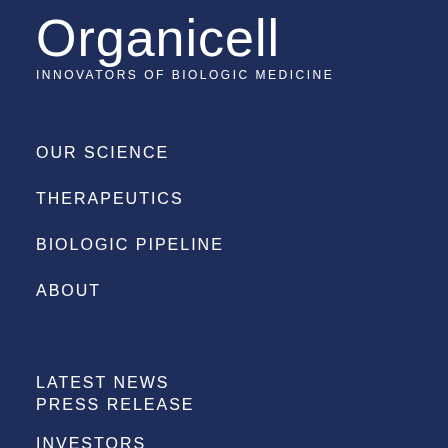Organicell
INNOVATORS OF BIOLOGIC MEDICINE
OUR SCIENCE
THERAPEUTICS
BIOLOGIC PIPELINE
ABOUT
LATEST NEWS
PRESS RELEASE
INVESTORS